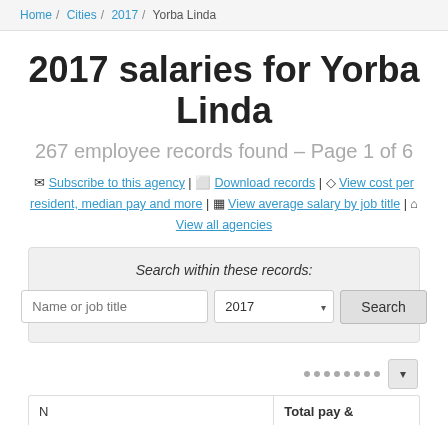Home / Cities / 2017 / Yorba Linda
2017 salaries for Yorba Linda
267 employee records found – Page 1 of 6
Subscribe to this agency | Download records | View cost per resident, median pay and more | View average salary by job title | View all agencies
Search within these records:
| Name | Total pay & |
| --- | --- |